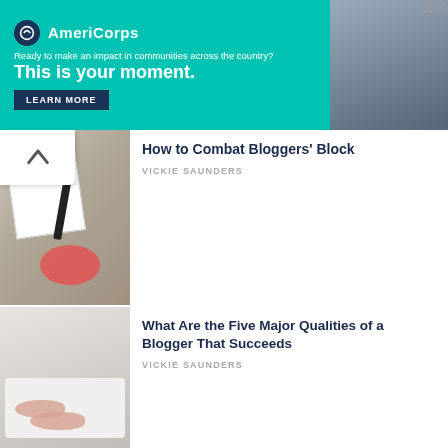[Figure (photo): AmeriCorps advertisement banner with teal background, logo, tagline 'Ready to make an impact in communities across the country?', headline 'This is your moment.', LEARN MORE button, and a photo of a person on the right]
[Figure (photo): Overhead photo of notebook, pen, laptop, and red coffee cup on wooden desk]
How to Combat Bloggers' Block
VICKIE SAUNDERS
[Figure (photo): Overhead photo of hands typing on a white keyboard on a wooden desk]
What Are the Five Major Qualities of a Blogger That Succeeds
VICKIE SAUNDERS
[Figure (photo): Dark image with text overlay reading 'become Successful Blogger' and hands on a laptop]
How to Use Goals to Become a Successful Blogger
VICKIE SAUNDERS